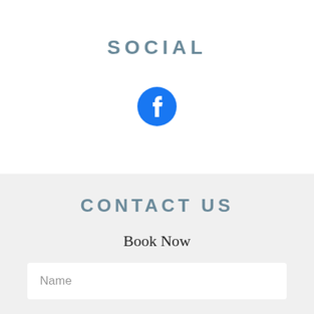SOCIAL
[Figure (logo): Facebook logo icon — blue circle with white letter f]
CONTACT US
Book Now
Name